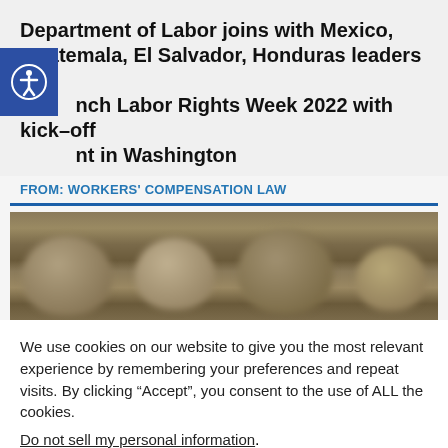Department of Labor joins with Mexico, Guatemala, El Salvador, Honduras leaders to launch Labor Rights Week 2022 with kick-off event in Washington
FROM: WORKERS' COMPENSATION LAW
[Figure (photo): Blurred/out-of-focus photograph showing the backs of several people's heads at what appears to be an indoor event or meeting]
We use cookies on our website to give you the most relevant experience by remembering your preferences and repeat visits. By clicking “Accept”, you consent to the use of ALL the cookies.
Do not sell my personal information.